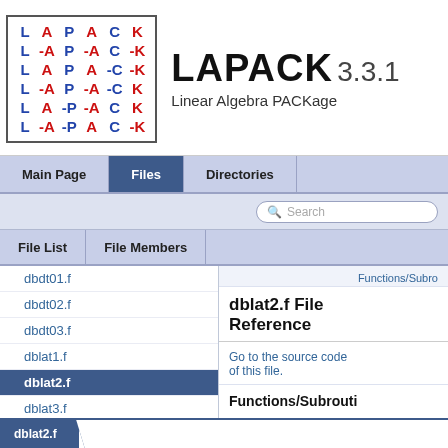[Figure (logo): LAPACK logo with letter matrix in red and blue inside brackets, beside LAPACK 3.3.1 title and subtitle 'Linear Algebra PACKage']
LAPACK 3.3.1 Linear Algebra PACKage
Main Page | Files | Directories
File List | File Members
dbdt01.f
dbdt02.f
dbdt03.f
dblat1.f
dblat2.f
dblat3.f
dcabs1.f
dchkaa.f
Functions/Subro
dblat2.f File Reference
Go to the source code of this file.
Functions/Subrouti
dblat2.f